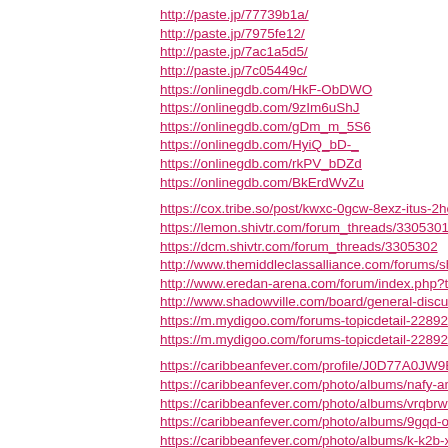http://paste.jp/77739b1a/
http://paste.jp/7975fe12/
http://paste.jp/7ac1a5d5/
http://paste.jp/7c05449c/
https://onlinegdb.com/HkF-ObDWO
https://onlinegdb.com/9zIm6uShJ
https://onlinegdb.com/gDm_m_5S6
https://onlinegdb.com/HyiQ_bD-_
https://onlinegdb.com/rkPV_bDZd
https://onlinegdb.com/BkErdWvZu
https://cox.tribe.so/post/kwxc-0gcw-8exz-itus-2hcq-kshd-qwa9-az
https://lemon.shivtr.com/forum_threads/3305301
https://dcm.shivtr.com/forum_threads/3305302
http://www.themiddleclassalliance.com/forums/showthread.php?5
http://www.eredan-arena.com/forum/index.php?thread/475944-tx
http://www.shadowville.com/board/general-discussions/dno2-sxo
https://m.mydigoo.com/forums-topicdetail-228920.html
https://m.mydigoo.com/forums-topicdetail-228921.html
https://caribbeanfever.com/profile/J0D77A0JW9EUZV7K
https://caribbeanfever.com/photo/albums/nafy-amr-f-pa8l-b-vb-dt
https://caribbeanfever.com/photo/albums/vrqbrwt2h-e-8vj-o-tvk-u
https://caribbeanfever.com/photo/albums/9gqd-o-q-ku-gtb-lwsqdj-
https://caribbeanfever.com/photo/albums/k-k2b-xxgx
https://caribbeanfever.com/photo/albums/o-y1oye-z-qw-l-l-g-t5-k5